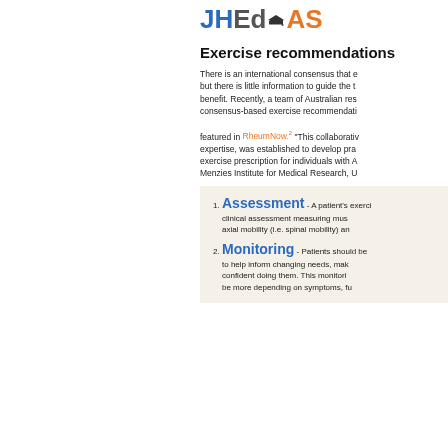JHEdAS
Exercise recommendations
There is an international consensus that exercise is important for people with axial spondyloarthritis (axSpA), but there is little information to guide the type of exercise that would be most beneficial. Recently, a team of Australian researchers developed consensus-based exercise recommendations for axSpA, which were featured in RheumNow.2 "This collaborative group, with broad expertise, was established to develop practical guidelines for exercise prescription for individuals with AS and nr-axSpA." - Menzies Institute for Medical Research, U
Assessment - A patient's exercise capacity should first be assessed with a clinical assessment measuring musculoskeletal fitness, including spinal/axial mobility (i.e. spinal mobility) and...
Monitoring - Patients should be regularly monitored during their exercise to help inform changing needs, making sure patients are comfortable and confident doing them. This monitoring needs and frequency may need to be more depending on symptoms, fu...